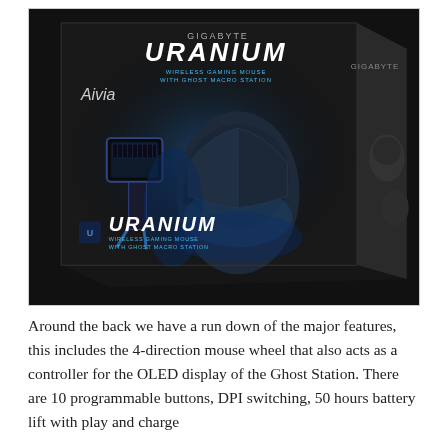[Figure (photo): Product box of GIGABYTE Aivia Uranium wireless gaming mouse with Ghost Macro Station. Black box with blue accent lighting showing the mouse and charging station on the front, GIGABYTE and URANIUM branding visible.]
Around the back we have a run down of the major features, this includes the 4-direction mouse wheel that also acts as a controller for the OLED display of the Ghost Station. There are 10 programmable buttons, DPI switching, 50 hours battery lift with play and charge